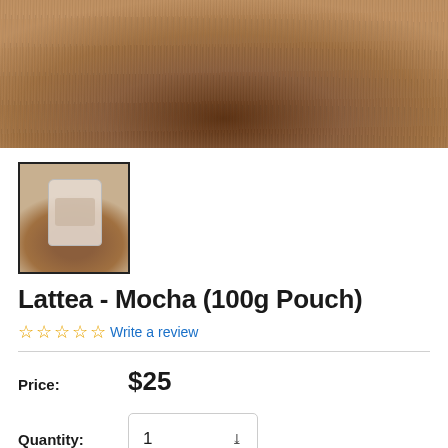[Figure (photo): Top portion of a wooden circular cutting board on a white surface, warm brown tones]
[Figure (photo): Thumbnail image of a product bag (Lattea Mocha) on a wooden surface, shown in a bordered thumbnail box]
Lattea - Mocha (100g Pouch)
☆☆☆☆☆ Write a review
Price: $25
Quantity: 1